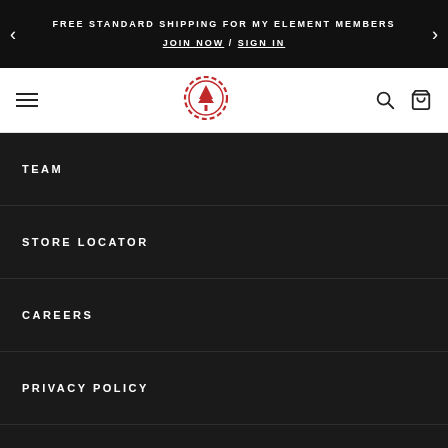FREE STANDARD SHIPPING FOR MY ELEMENT MEMBERS
JOIN NOW / SIGN IN
[Figure (logo): Element skateboards logo - red circular badge with tree icon]
TEAM
STORE LOCATOR
CAREERS
PRIVACY POLICY
TERMS OF USE
SHOP
ELR